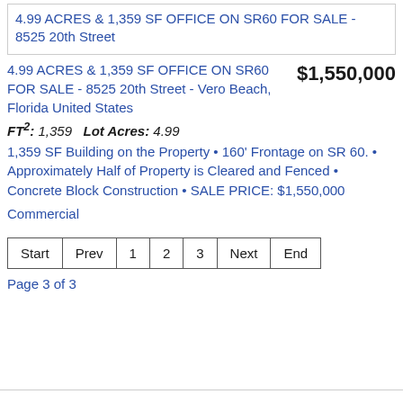4.99 ACRES & 1,359 SF OFFICE ON SR60 FOR SALE - 8525 20th Street
4.99 ACRES & 1,359 SF OFFICE ON SR60 FOR SALE - 8525 20th Street - Vero Beach, Florida United States
$1,550,000
FT²: 1,359   Lot Acres: 4.99
1,359 SF Building on the Property • 160' Frontage on SR 60. • Approximately Half of Property is Cleared and Fenced • Concrete Block Construction • SALE PRICE: $1,550,000
Commercial
| Start | Prev | 1 | 2 | 3 | Next | End |
| --- | --- | --- | --- | --- | --- | --- |
Page 3 of 3